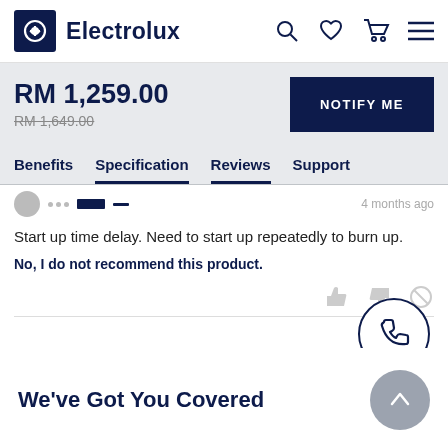[Figure (logo): Electrolux logo with dark navy square icon and brand name]
RM 1,259.00
RM 1,649.00 (strikethrough)
NOTIFY ME
Benefits   Specification   Reviews   Support
Start up time delay. Need to start up repeatedly to burn up.
No, I do not recommend this product.
[Figure (illustration): Thumbs up, thumbs down, and cancel/report icons in gray]
[Figure (illustration): Phone/call floating action button circle icon in dark navy]
We've Got You Covered
[Figure (illustration): Gray circular back-to-top arrow button]